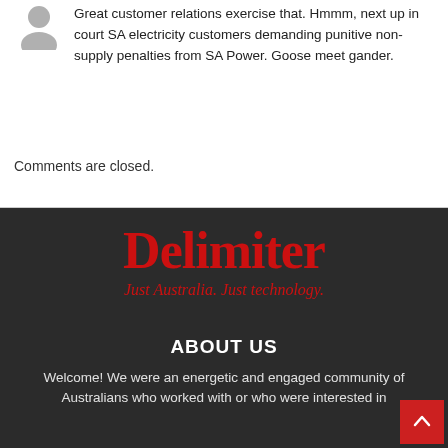[Figure (illustration): Generic user avatar icon in grey]
Great customer relations exercise that. Hmmm, next up in court SA electricity customers demanding punitive non-supply penalties from SA Power. Goose meet gander.
Comments are closed.
[Figure (logo): Delimiter logo — red serif text 'Delimiter' with tagline 'Just Australia. Just technology.' on dark background]
ABOUT US
Welcome! We were an energetic and engaged community of Australians who worked with or who were interested in